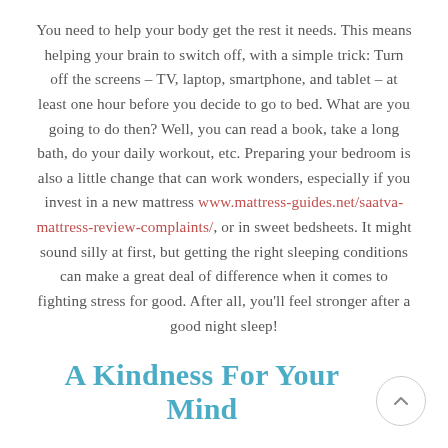You need to help your body get the rest it needs. This means helping your brain to switch off, with a simple trick: Turn off the screens – TV, laptop, smartphone, and tablet – at least one hour before you decide to go to bed. What are you going to do then? Well, you can read a book, take a long bath, do your daily workout, etc. Preparing your bedroom is also a little change that can work wonders, especially if you invest in a new mattress www.mattress-guides.net/saatva-mattress-review-complaints/, or in sweet bedsheets. It might sound silly at first, but getting the right sleeping conditions can make a great deal of difference when it comes to fighting stress for good. After all, you'll feel stronger after a good night sleep!
A Kindness For Your Mind